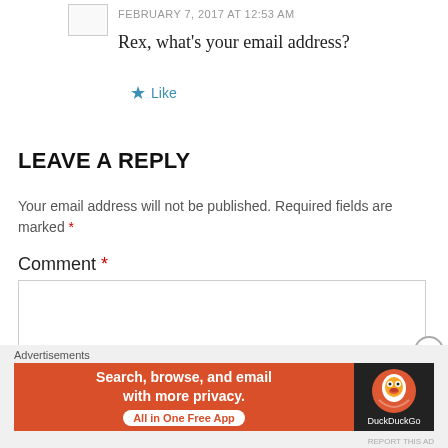FEBRUARY 7, 2017 AT 12:53 AM
Rex, what's your email address?
★ Like
LEAVE A REPLY
Your email address will not be published. Required fields are marked *
Comment *
[Figure (screenshot): Empty comment text area input box]
[Figure (screenshot): Close/X button circle]
Advertisements
[Figure (infographic): DuckDuckGo advertisement banner: 'Search, browse, and email with more privacy. All in One Free App' on orange background with DuckDuckGo logo on dark background]